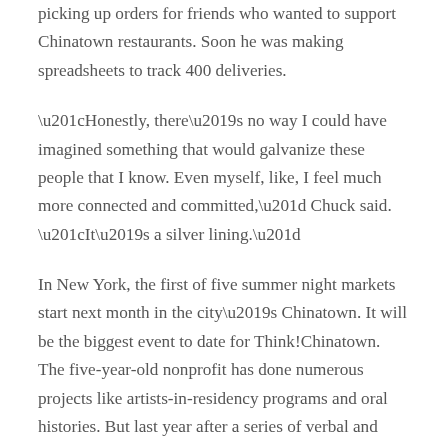picking up orders for friends who wanted to support Chinatown restaurants. Soon he was making spreadsheets to track 400 deliveries.
“Honestly, there’s no way I could have imagined something that would galvanize these people that I know. Even myself, like, I feel much more connected and committed,” Chuck said. “It’s a silver lining.”
In New York, the first of five summer night markets start next month in the city’s Chinatown. It will be the biggest event to date for Think!Chinatown. The five-year-old nonprofit has done numerous projects like artists-in-residency programs and oral histories. But last year after a series of verbal and physical assaults against Asians, they partnered with Neighborhoods Now, a local pandemic relief initiative, on Chinatown Nights.
It was a small-scale gathering of less than 10 artist booths and food trucks in Forsyth Plaza park. Despite a “crazy” two-month